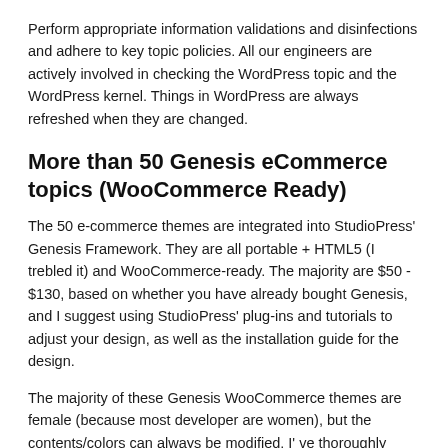Perform appropriate information validations and disinfections and adhere to key topic policies. All our engineers are actively involved in checking the WordPress topic and the WordPress kernel. Things in WordPress are always refreshed when they are changed.
More than 50 Genesis eCommerce topics (WooCommerce Ready)
The 50 e-commerce themes are integrated into StudioPress' Genesis Framework. They are all portable + HTML5 (I trebled it) and WooCommerce-ready. The majority are $50 - $130, based on whether you have already bought Genesis, and I suggest using StudioPress' plug-ins and tutorials to adjust your design, as well as the installation guide for the design.
The majority of these Genesis WooCommerce themes are female (because most developer are women), but the contents/colors can always be modified. I' ve thoroughly reviewed these and emphasized my favorite themes - May Lifestyle Pro, Digital Pro, Parallax Pro and Hello You Designs